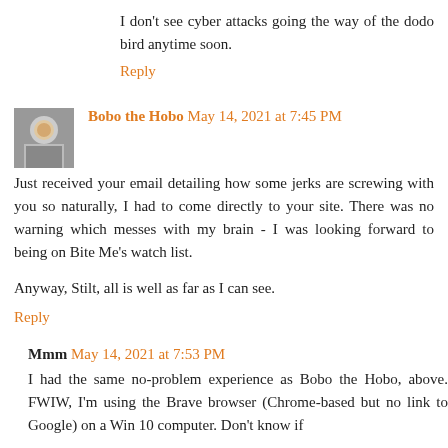I don't see cyber attacks going the way of the dodo bird anytime soon.
Reply
Bobo the Hobo  May 14, 2021 at 7:45 PM
Just received your email detailing how some jerks are screwing with you so naturally, I had to come directly to your site. There was no warning which messes with my brain - I was looking forward to being on Bite Me's watch list.
Anyway, Stilt, all is well as far as I can see.
Reply
Mmm  May 14, 2021 at 7:53 PM
I had the same no-problem experience as Bobo the Hobo, above. FWIW, I'm using the Brave browser (Chrome-based but no link to Google) on a Win 10 computer. Don't know if